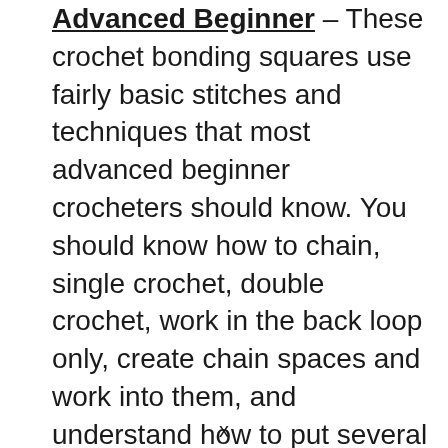Advanced Beginner – These crochet bonding squares use fairly basic stitches and techniques that most advanced beginner crocheters should know. You should know how to chain, single crochet, double crochet, work in the back loop only, create chain spaces and work into them, and understand how to put several stitches into one indicated stitch or space.
x